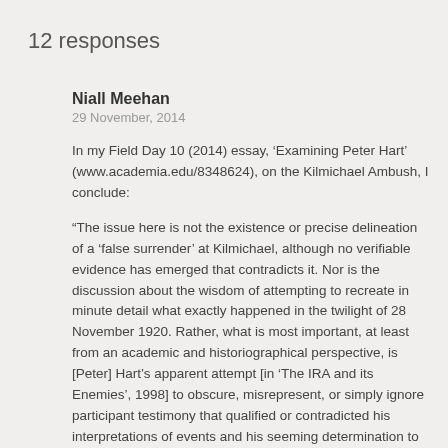12 responses
Niall Meehan
29 November, 2014

In my Field Day 10 (2014) essay, ‘Examining Peter Hart’ (www.academia.edu/8348624), on the Kilmichael Ambush, I conclude:

“The issue here is not the existence or precise delineation of a ‘false surrender’ at Kilmichael, although no verifiable evidence has emerged that contradicts it. Nor is the discussion about the wisdom of attempting to recreate in minute detail what exactly happened in the twilight of 28 November 1920. Rather, what is most important, at least from an academic and historiographical perspective, is [Peter] Hart’s apparent attempt [in ‘The IRA and its Enemies’, 1998] to obscure, misrepresent, or simply ignore participant testimony that qualified or contradicted his interpretations of events and his seeming determination to demonize